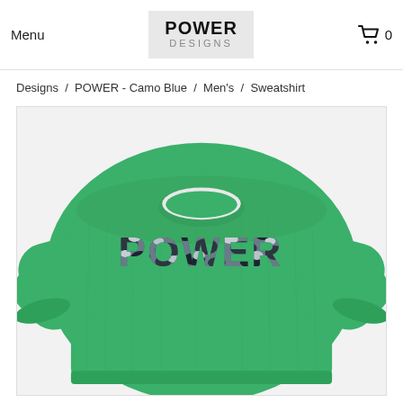Menu | POWER DESIGNS | Cart 0
Designs / POWER - Camo Blue / Men's / Sweatshirt
[Figure (photo): Green crewneck sweatshirt with POWER written in blue camo pattern lettering on the chest]